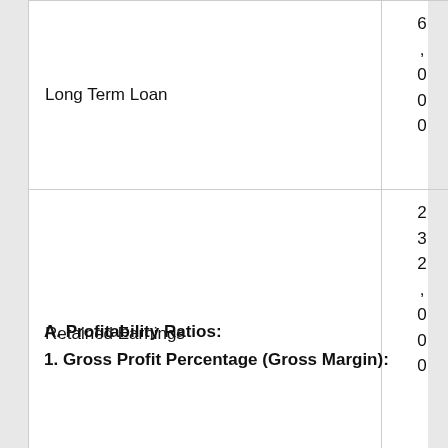|  |  |
| --- | --- |
| Long Term Loan | 6,000 |
| Retained Earnings | 232,000 |
A. Profitability Ratios:
1. Gross Profit Percentage (Gross Margin):